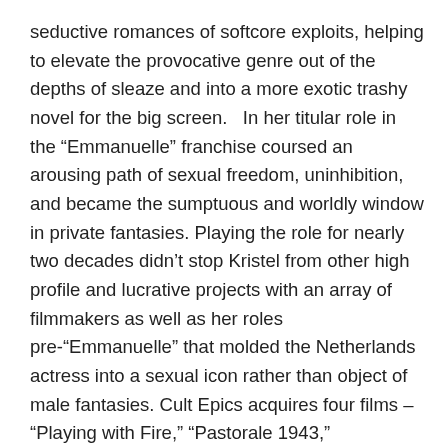seductive romances of softcore exploits, helping to elevate the provocative genre out of the depths of sleaze and into a more exotic trashy novel for the big screen.   In her titular role in the “Emmanuelle” franchise coursed an arousing path of sexual freedom, uninhibition, and became the sumptuous and worldly window in private fantasies. Playing the role for nearly two decades didn’t stop Kristel from other high profile and lucrative projects with an array of filmmakers as well as her roles pre-“Emmanuelle” that molded the Netherlands actress into a sexual icon rather than object of male fantasies. Cult Epics acquires four films – “Playing with Fire,” “Pastorale 1943,” “Mysteries,” and “Julia” – that even though didn’t have Kristel set as a principal lead still showcased her range within the constraints of a minor, but certainly not insignificant, performance.